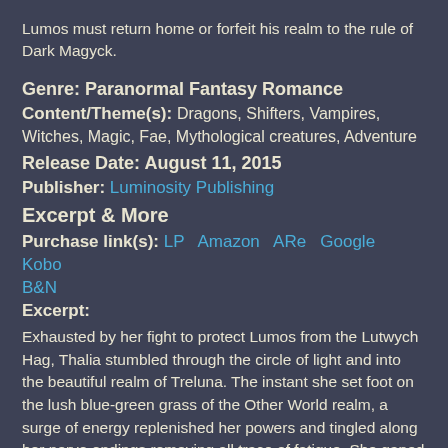Lumos must return home or forfeit his realm to the rule of Dark Magyck.
Genre: Paranormal Fantasy Romance
Content/Theme(s): Dragons, Shifters, Vampires, Witches, Magic, Fae, Mythological creatures, Adventure
Release Date: August 11, 2015
Publisher: Luminosity Publishing
Excerpt & More
Purchase link(s): LP  Amazon  ARe  Google  Kobo  B&N
Excerpt:
Exhausted by her fight to protect Lumos from the Lutwych Hag, Thalia stumbled through the circle of light and into the beautiful realm of Treluna. The instant she set foot on the lush blue-green grass of the Other World realm, a surge of energy replenished her powers and tingled along her nerve endings removing all trace of fatigue. She gaped at beauty more wondrous than any imagination could conjure. Basking below a warm sun, flower-filled meadows flowed down to a